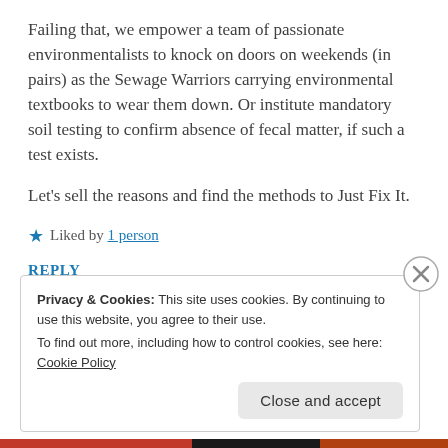Failing that, we empower a team of passionate environmentalists to knock on doors on weekends (in pairs) as the Sewage Warriors carrying environmental textbooks to wear them down. Or institute mandatory soil testing to confirm absence of fecal matter, if such a test exists.
Let's sell the reasons and find the methods to Just Fix It.
★ Liked by 1 person
REPLY
Privacy & Cookies: This site uses cookies. By continuing to use this website, you agree to their use.
To find out more, including how to control cookies, see here: Cookie Policy
Close and accept